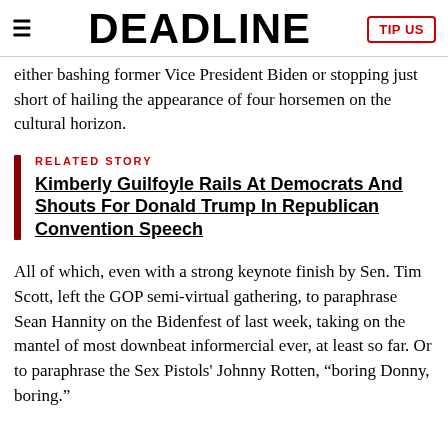DEADLINE
either bashing former Vice President Biden or stopping just short of hailing the appearance of four horsemen on the cultural horizon.
RELATED STORY
Kimberly Guilfoyle Rails At Democrats And Shouts For Donald Trump In Republican Convention Speech
All of which, even with a strong keynote finish by Sen. Tim Scott, left the GOP semi-virtual gathering, to paraphrase Sean Hannity on the Bidenfest of last week, taking on the mantel of most downbeat informercial ever, at least so far. Or to paraphrase the Sex Pistols' Johnny Rotten, “boring Donny, boring.”